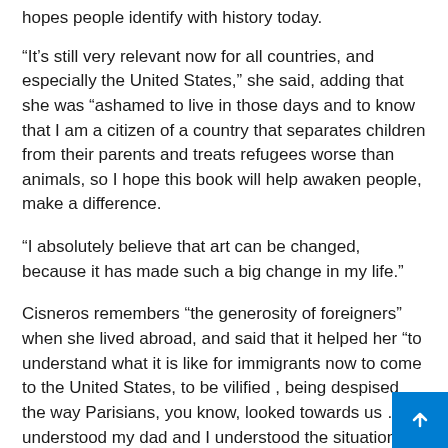hopes people identify with history today.
“It’s still very relevant now for all countries, and especially the United States,” she said, adding that she was “ashamed to live in those days and to know that I am a citizen of a country that separates children from their parents and treats refugees worse than animals, so I hope this book will help awaken people, make a difference.
“I absolutely believe that art can be changed, because it has made such a big change in my life.”
Cisneros remembers “the generosity of foreigners” when she lived abroad, and said that it helped her “to understand what it is like for immigrants now to come to the United States, to be vilified , being despised the way Parisians, you know, looked towards us … I understood my dad and I understood the situation of immigrants now in a way that maybe I couldn’t , so I’m glad I had this experience.